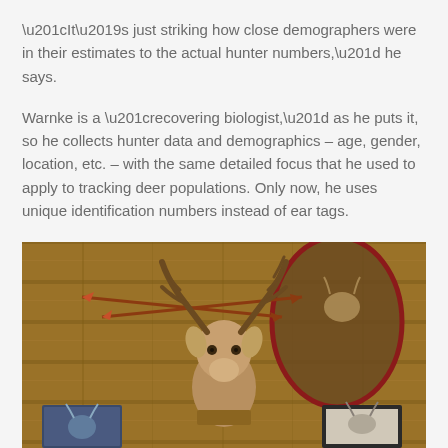“It’s just striking how close demographers were in their estimates to the actual hunter numbers,” he says.
Warnke is a “recovering biologist,” as he puts it, so he collects hunter data and demographics – age, gender, location, etc. – with the same detailed focus that he used to apply to tracking deer populations. Only now, he uses unique identification numbers instead of ear tags.
[Figure (photo): A mounted deer head with large antlers on a wood-paneled wall, with crossed arrows above it. To the right is a deer hide/pelt mounted on the wall. Below are two framed photos of deer on the wall.]